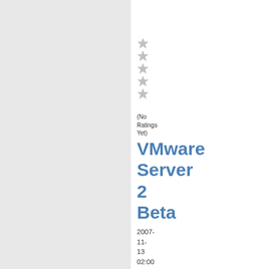[Figure (other): Five gray/silver star rating icons stacked vertically]
(No Ratings Yet)
VMware Server 2 Beta
2007-11-13 02:00 | Автор: FedoraMD.org | Filed